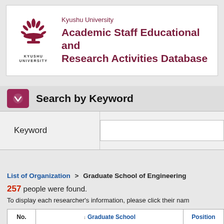Kyushu University Academic Staff Educational and Research Activities Database
Search by Keyword
| Keyword |
| --- |
| (input field) |
List of Organization > Graduate School of Engineering
257 people were found.
To display each researcher's information, please click their nam
| No. | Graduate School | Position |
| --- | --- | --- |